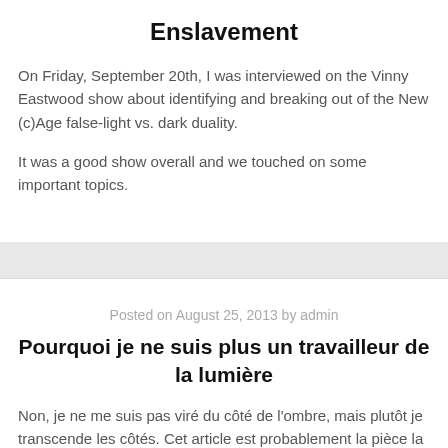Enslavement
On Friday, September 20th, I was interviewed on the Vinny Eastwood show about identifying and breaking out of the New (c)Age false-light vs. dark duality.
It was a good show overall and we touched on some important topics.
Posted on August 25, 2013 by admin
Pourquoi je ne suis plus un travailleur de la lumière
Non, je ne me suis pas viré du côté de l'ombre, mais plutôt je transcende les côtés. Cet article est probablement la pièce la plus importante que j'ai écrite à date, et pour